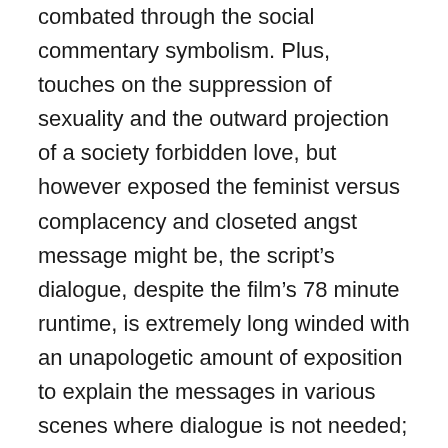combated through the social commentary symbolism. Plus, touches on the suppression of sexuality and the outward projection of a society forbidden love, but however exposed the feminist versus complacency and closeted angst message might be, the script's dialogue, despite the film's 78 minute runtime, is extremely long winded with an unapologetic amount of exposition to explain the messages in various scenes where dialogue is not needed; one of the early scenes, with a man peeping outside the window of a very naked woman bathing before shooting an arrow through her bloodsucking heart, had the right message with that actioned a tone conversing the unspoken subplot of men against women. There's also no telling which time period, or even universe, the story is set with various era styled garments from conservative nightwear, to bright red band-leader tops, to skin-tight, scantily night club outfits. The latter felt really out of place